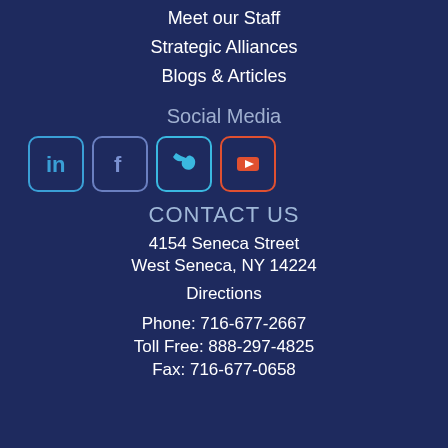Meet our Staff
Strategic Alliances
Blogs & Articles
Social Media
[Figure (infographic): Social media icons: LinkedIn, Facebook, Twitter, YouTube in rounded square borders]
CONTACT US
4154 Seneca Street
West Seneca, NY 14224
Directions
Phone: 716-677-2667
Toll Free: 888-297-4825
Fax: 716-677-0658